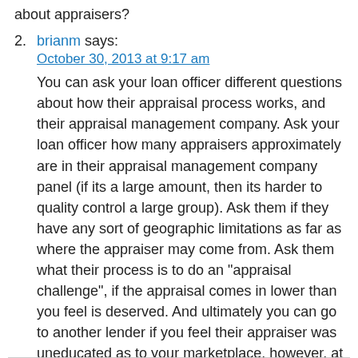about appraisers?
2. brianm says:
October 30, 2013 at 9:17 am
You can ask your loan officer different questions about how their appraisal process works, and their appraisal management company. Ask your loan officer how many appraisers approximately are in their appraisal management company panel (if its a large amount, then its harder to quality control a large group). Ask them if they have any sort of geographic limitations as far as where the appraiser may come from. Ask them what their process is to do an "appraisal challenge", if the appraisal comes in lower than you feel is deserved. And ultimately you can go to another lender if you feel their appraiser was uneducated as to your marketplace, however, at that point, rates may have gone up which would cost you more to switch.